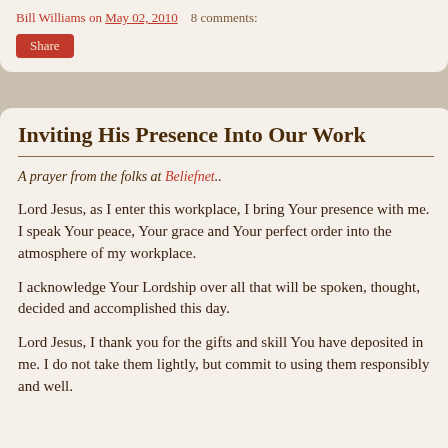Bill Williams on May 02, 2010   8 comments:
Inviting His Presence Into Our Work
A prayer from the folks at Beliefnet..
Lord Jesus, as I enter this workplace, I bring Your presence with me. I speak Your peace, Your grace and Your perfect order into the atmosphere of my workplace.
I acknowledge Your Lordship over all that will be spoken, thought, decided and accomplished this day.
Lord Jesus, I thank you for the gifts and skill You have deposited in me. I do not take them lightly, but commit to using them responsibly and well.